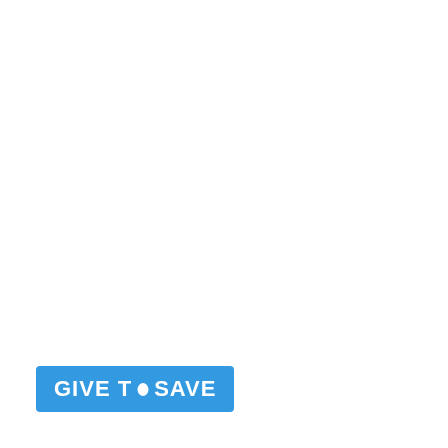[Figure (logo): Blue rectangular badge with white bold text reading 'GIVE TO SAVE' with a white egg/teardrop icon replacing the 'O' in 'TO']